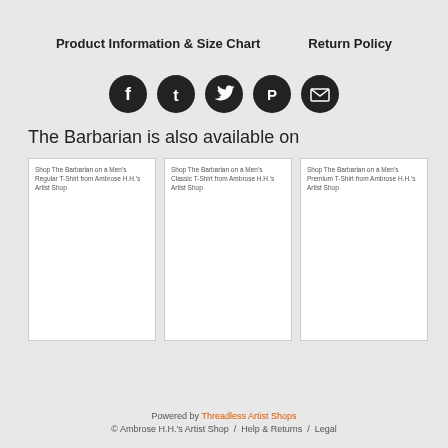Product Information & Size Chart     Return Policy
[Figure (infographic): Five dark circular social media icons: Facebook, Tumblr, Twitter, Pinterest, Email]
The Barbarian is also available on
[Figure (infographic): Three product card placeholders: Shop The Barbarian on a Men's Regular T-Shirt from Ambrose H.H.'s Artist Shop, Shop The Barbarian on a Men's Classic T-Shirt from Ambrose H.H.'s Artist Shop, Shop The Barbarian on a Men's Premium T-Shirt from Ambrose H.H.'s Artist Shop]
Powered by Threadless Artist Shops
© Ambrose H.H.'s Artist Shop  /  Help & Returns  /  Legal